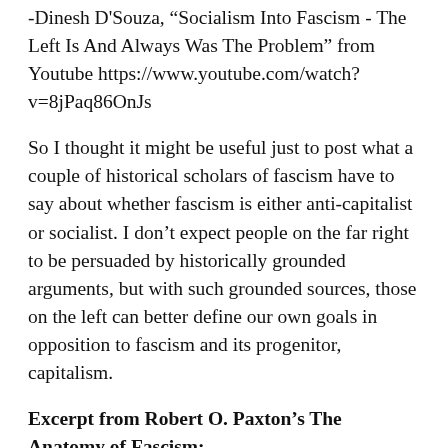-Dinesh D'Souza, "Socialism Into Fascism - The Left Is And Always Was The Problem" from Youtube https://www.youtube.com/watch?v=8jPaq86OnJs
So I thought it might be useful just to post what a couple of historical scholars of fascism have to say about whether fascism is either anti-capitalist or socialist. I don't expect people on the far right to be persuaded by historically grounded arguments, but with such grounded sources, those on the left can better define our own goals in opposition to fascism and its progenitor, capitalism.
Excerpt from Robert O. Paxton's The Anatomy of Fascism:
Another supposed essential character of fascism is its anticapitalist, antibourgeois animus. Early fascist